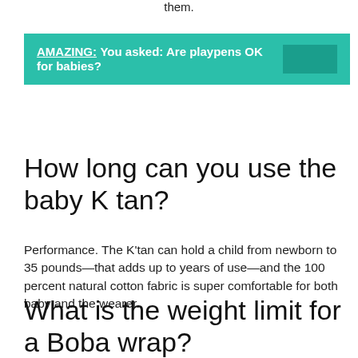them.
[Figure (infographic): Teal/green banner with text: AMAZING: You asked: Are playpens OK for babies? The right side of the banner has a darker teal rectangle.]
How long can you use the baby K tan?
Performance. The K’tan can hold a child from newborn to 35 pounds—that adds up to years of use—and the 100 percent natural cotton fabric is super comfortable for both baby and the wearer.
What is the weight limit for a Boba wrap?